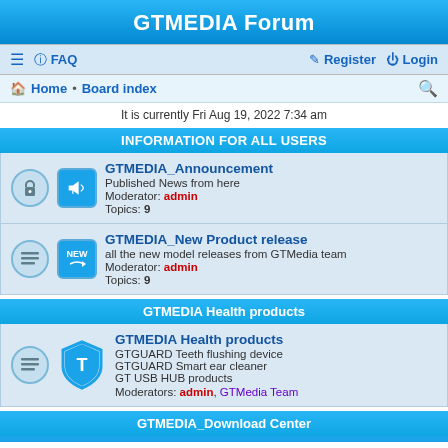GTMEDIA Forum
≡  FAQ    Register  Login
Home · Board index
It is currently Fri Aug 19, 2022 7:34 am
INFORMATION FOR ALL USERS
GTMEDIA_Announcement
Published News from here
Moderator: admin
Topics: 9
GTMEDIA_New Product release
all the new model releases from GTMedia team
Moderator: admin
Topics: 9
GTMEDIA Health products
GTMEDIA Health products
GTGUARD Teeth flushing device
GTGUARD Smart ear cleaner
GT USB HUB products
Moderators: admin, GTMedia Team
GTMEDIA_Download Center